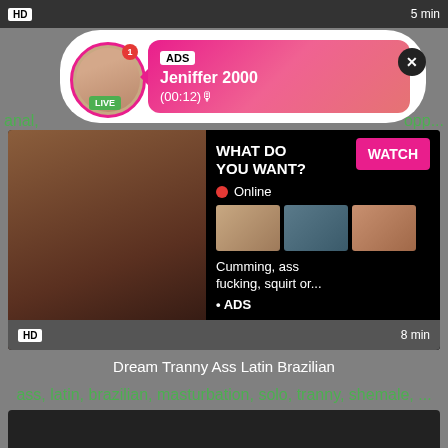[Figure (screenshot): Top dark bar with HD badge and 5 min duration]
[Figure (screenshot): Popup ad overlay showing Jeniffer 2000 live chat notification with avatar, LIVE badge, ADS label, and close button]
anal,
opp...
[Figure (screenshot): Video ad card with WHAT DO YOU WANT? text, WATCH button, Online indicator, three thumbnail images, and text: Cumming, ass fucking, squirt or... • ADS]
HD
8 min
Dream Tranny Ass Latin Brazilian
ass, latin, brazilian, masturbation, solo, tranny, shemale, ...
[Figure (screenshot): Bottom dark video thumbnail area]